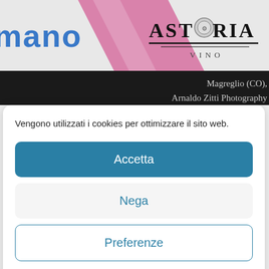[Figure (photo): Top banner photo showing cycling jersey with 'SHIMANO' text on left and 'ASTORIA' logo on right, with pink diagonal stripe. Black strip below with white text 'Magreglio (CO),' and 'Arnaldo Zitti Photography'.]
Vengono utilizzati i cookies per ottimizzare il sito web.
Accetta
Nega
Preferenze
Cookie Policy  Privacy Policy